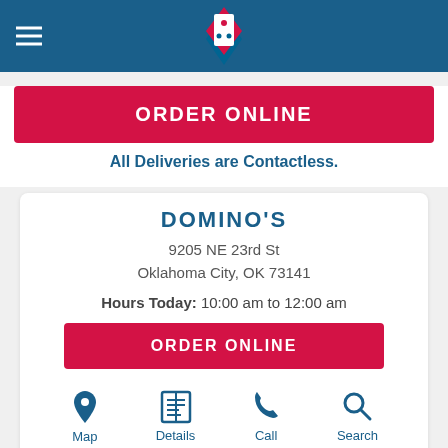[Figure (logo): Domino's Pizza logo centered in blue navigation bar with hamburger menu icon on the left]
ORDER ONLINE
All Deliveries are Contactless.
DOMINO'S
9205 NE 23rd St
Oklahoma City, OK 73141
Hours Today: 10:00 am to 12:00 am
ORDER ONLINE
[Figure (infographic): Bottom navigation bar with four icons: Map (location pin), Details (newspaper/list icon), Call (phone icon), Search (magnifying glass icon)]